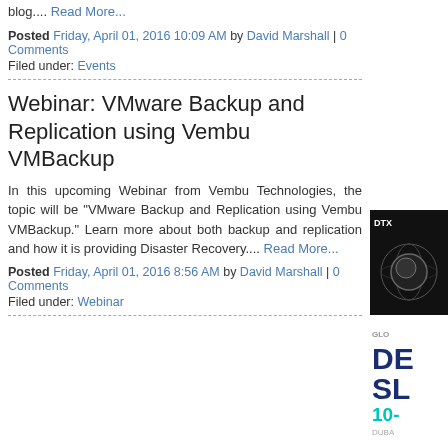blog.... Read More...
Posted Friday, April 01, 2016 10:09 AM by David Marshall | 0 Comments
Filed under: Events
Webinar: VMware Backup and Replication using Vembu VMBackup
In this upcoming Webinar from Vembu Technologies, the topic will be "VMware Backup and Replication using Vembu VMBackup." Learn more about both backup and replication and how it is providing Disaster Recovery.... Read More...
Posted Friday, April 01, 2016 8:56 AM by David Marshall | 0 Comments
Filed under: Webinar
[Figure (other): DTX advertisement banner, dark background with globe image]